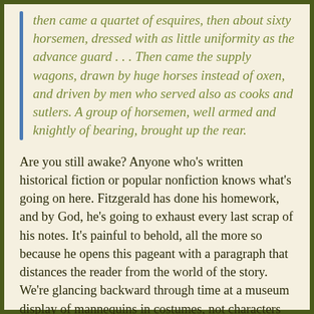then came a quartet of esquires, then about sixty horsemen, dressed with as little uniformity as the advance guard . . . Then came the supply wagons, drawn by huge horses instead of oxen, and driven by men who served also as cooks and sutlers. A group of horsemen, well armed and knightly of bearing, brought up the rear.
Are you still awake? Anyone who's written historical fiction or popular nonfiction knows what's going on here. Fitzgerald has done his homework, and by God, he's going to exhaust every last scrap of his notes. It's painful to behold, all the more so because he opens this pageant with a paragraph that distances the reader from the world of the story. We're glancing backward through time at a museum display of mannequins in costumes, not characters